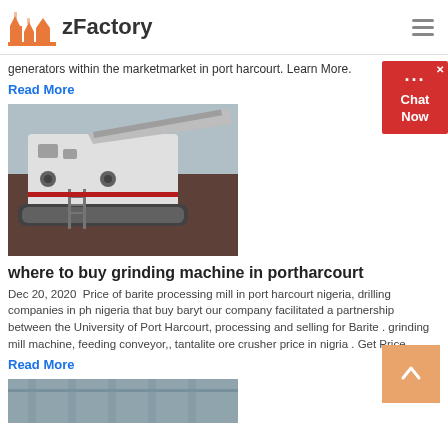zFactory
generators within the marketmarket in port harcourt. Learn More.
Read More
[Figure (photo): A large mobile crushing/grinding machine on tracks, outdoors.]
where to buy grinding machine in portharcourt
Dec 20, 2020  Price of barite processing mill in port harcourt nigeria, drilling companies in ph nigeria that buy baryt our company facilitated a partnership between the University of Port Harcourt, processing and selling for Barite . grinding mill machine, feeding conveyor,, tantalite ore crusher price in nigria . Get Price
Read More
[Figure (photo): Partial view of an industrial structure or building, cropped at bottom.]